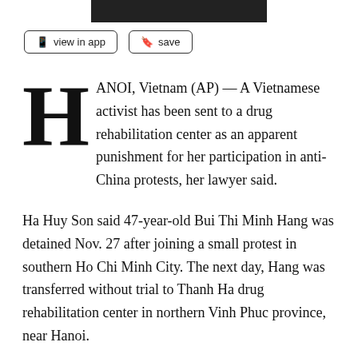[Figure (other): Black rectangular banner/header bar]
view in app
save
HANOI, Vietnam (AP) — A Vietnamese activist has been sent to a drug rehabilitation center as an apparent punishment for her participation in anti-China protests, her lawyer said.
Ha Huy Son said 47-year-old Bui Thi Minh Hang was detained Nov. 27 after joining a small protest in southern Ho Chi Minh City. The next day, Hang was transferred without trial to Thanh Ha drug rehabilitation center in northern Vinh Phuc province, near Hanoi.